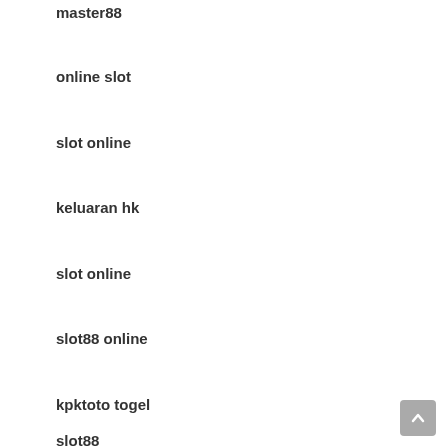master88
online slot
slot online
keluaran hk
slot online
slot88 online
kpktoto togel
slot88